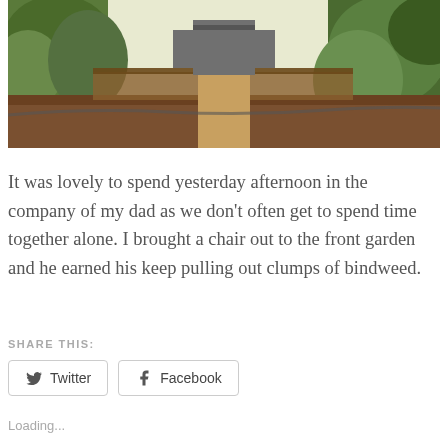[Figure (photo): A person standing in a front garden with plants and soil beds, surrounded by green foliage and a wooden fence or raised bed structure in the background.]
It was lovely to spend yesterday afternoon in the company of my dad as we don't often get to spend time together alone. I brought a chair out to the front garden and he earned his keep pulling out clumps of bindweed.
SHARE THIS:
Twitter
Facebook
Loading...